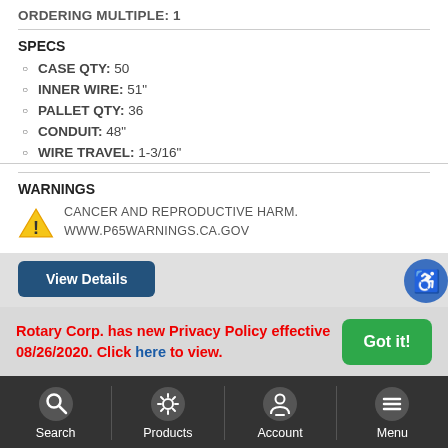ORDERING MULTIPLE: 1
SPECS
CASE QTY: 50
INNER WIRE: 51"
PALLET QTY: 36
CONDUIT: 48"
WIRE TRAVEL: 1-3/16"
WARNINGS
CANCER AND REPRODUCTIVE HARM. WWW.P65WARNINGS.CA.GOV
Rotary Corp. has new Privacy Policy effective 08/26/2020. Click here to view.
Search | Products | Account | Menu